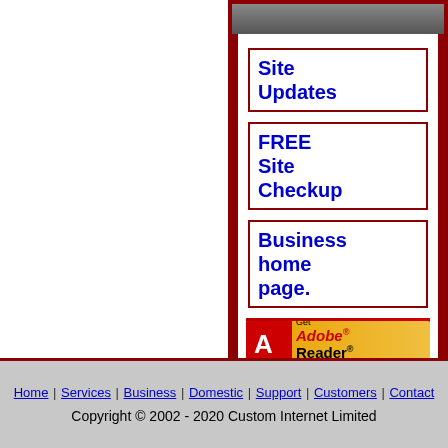[Figure (screenshot): Website sidebar navigation panel with dark red border, grey top bar, white content area containing three navigation link boxes labeled 'Site Updates', 'FREE Site Checkup', and 'Business home page.', followed by a Get Adobe Reader banner, and a dotted grey bottom bar.]
Home | Services | Business | Domestic | Support | Customers | Contact
Copyright © 2002 - 2020 Custom Internet Limited